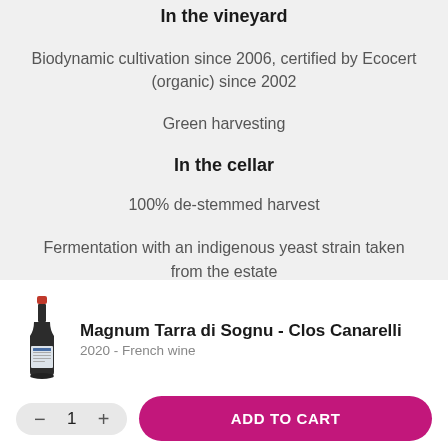In the vineyard
Biodynamic cultivation since 2006, certified by Ecocert (organic) since 2002
Green harvesting
In the cellar
100% de-stemmed harvest
Fermentation with an indigenous yeast strain taken from the estate
[Figure (illustration): Wine bottle illustration for Magnum Tarra di Sognu - Clos Canarelli]
Magnum Tarra di Sognu - Clos Canarelli
2020 - French wine